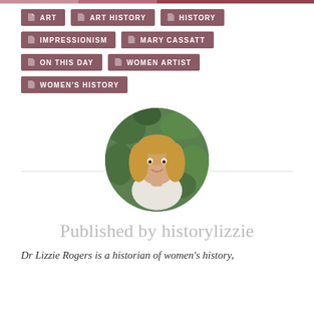ART
ART HISTORY
HISTORY
IMPRESSIONISM
MARY CASSATT
ON THIS DAY
WOMEN ARTIST
WOMEN'S HISTORY
[Figure (photo): Circular portrait photo of a young woman with long blonde hair wearing a white blouse, smiling, against a leafy green background]
Published by historylizzie
Dr Lizzie Rogers is a historian of women's history,